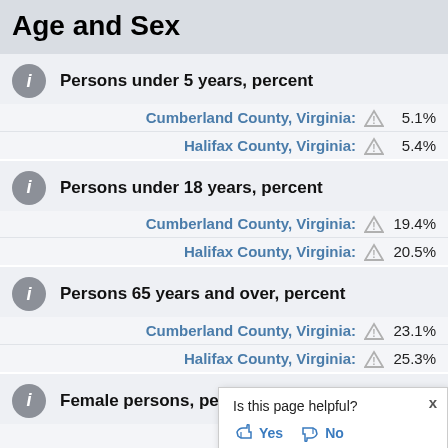Age and Sex
Persons under 5 years, percent
Cumberland County, Virginia: ⚠ 5.1%
Halifax County, Virginia: ⚠ 5.4%
Persons under 18 years, percent
Cumberland County, Virginia: ⚠ 19.4%
Halifax County, Virginia: ⚠ 20.5%
Persons 65 years and over, percent
Cumberland County, Virginia: ⚠ 23.1%
Halifax County, Virginia: ⚠ 25.3%
Female persons, percent
Cumberland County, Virginia:
Halifax County,